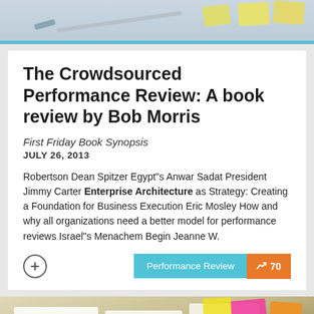[Figure (photo): Top banner image showing sticky notes and paper on a desk surface]
The Crowdsourced Performance Review: A book review by Bob Morris
First Friday Book Synopsis
JULY 26, 2013
Robertson Dean Spitzer Egypt"s Anwar Sadat President Jimmy Carter Enterprise Architecture as Strategy: Creating a Foundation for Business Execution Eric Mosley How and why all organizations need a better model for performance reviews Israel"s Menachem Begin Jeanne W.
[Figure (photo): Bottom image showing a hand with a watch drawing on paper wireframes/sketches with markers and colorful sticky notes on a desk]